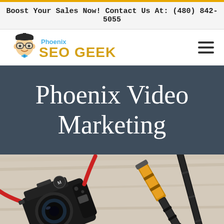Boost Your Sales Now! Contact Us At: (480) 842-5055
[Figure (logo): Phoenix SEO Geek logo with cartoon geek character wearing glasses and bow tie, with 'Phoenix' in blue and 'SEO GEEK' in bold gold/dark letters]
Phoenix Video Marketing
[Figure (photo): DSLR camera and tripod/monopod laid on a wooden surface, shot from above at an angle]